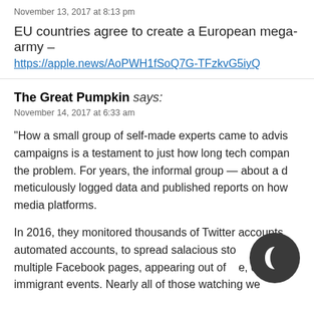November 13, 2017 at 8:13 pm
EU countries agree to create a European mega-army –
https://apple.news/AoPWH1fSoQ7G-TFzkvG5iyQ
The Great Pumpkin says:
November 14, 2017 at 6:33 am
“How a small group of self-made experts came to advis campaigns is a testament to just how long tech compa the problem. For years, the informal group — about a d meticulously logged data and published reports on how media platforms.
In 2016, they monitored thousands of Twitter accounts automated accounts, to spread salacious sto ut th multiple Facebook pages, appearing out of e, or anti-immigrant events. Nearly all of those watching we